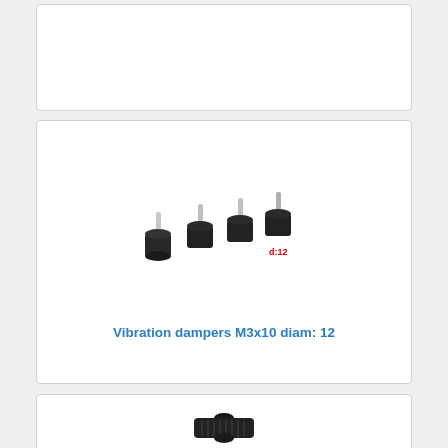[Figure (photo): Empty white product card (top, partially visible)]
[Figure (photo): Four black rubber vibration dampers M3x10 with metal screws, arranged in a row, with a red label showing d:12]
Vibration dampers M3x10 diam: 12
[Figure (photo): A single black cylindrical threaded standoff/spacer on white background (partially visible card at bottom)]